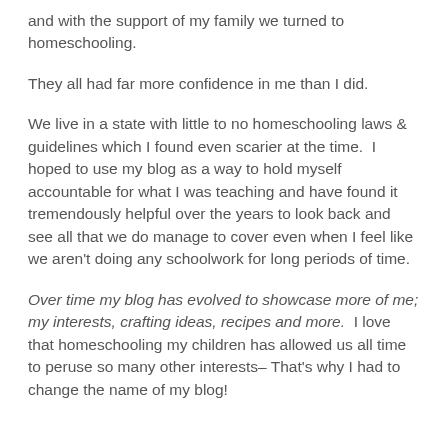and with the support of my family we turned to homeschooling.
They all had far more confidence in me than I did.
We live in a state with little to no homeschooling laws & guidelines which I found even scarier at the time. I hoped to use my blog as a way to hold myself accountable for what I was teaching and have found it tremendously helpful over the years to look back and see all that we do manage to cover even when I feel like we aren't doing any schoolwork for long periods of time.
Over time my blog has evolved to showcase more of me; my interests, crafting ideas, recipes and more. I love that homeschooling my children has allowed us all time to peruse so many other interests– That's why I had to change the name of my blog!